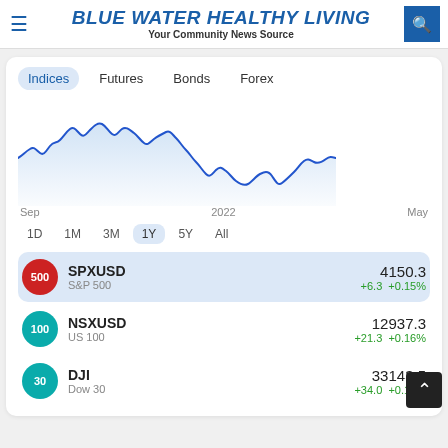BLUE WATER HEALTHY LIVING — Your Community News Source
[Figure (line-chart): Line chart showing S&P 500 index over 1 year from Sep to May 2022, with the index declining from around 4400 to a trough near 3800 then partially recovering to around 4150. Blue line with light blue shaded area beneath.]
Indices | Futures | Bonds | Forex — 1D 1M 3M 1Y 5Y All
| Badge | Ticker | Name | Price | Change | % Change |
| --- | --- | --- | --- | --- | --- |
| 500 | SPXUSD | S&P 500 | 4150.3 | +6.3 | +0.15% |
| 100 | NSXUSD | US 100 | 12937.3 | +21.3 | +0.16% |
| 30 | DJI | Dow 30 | 33143.5 | +34.0 | +0.10% |